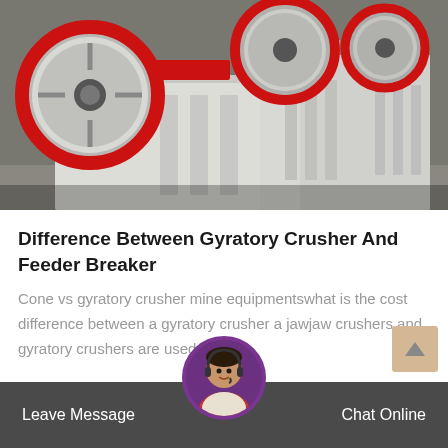[Figure (photo): Multiple white jaw crusher machines with red flywheel rims lined up in a factory/warehouse setting]
Difference Between Gyratory Crusher And Feeder Breaker
Cone vs gyratory crusher mine equipmentswhat is the cost difference between a gyratory crusher a jawjaw crushers and gyratory crushers are used i
[Figure (other): Customer service chat bar with Leave Message and Chat Online buttons and a customer service representative avatar]